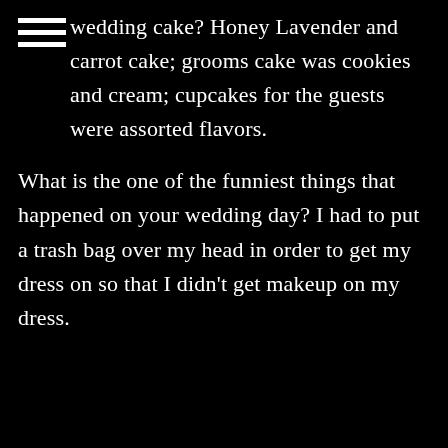wedding cake? Honey Lavender and carrot cake; grooms cake was cookies and cream; cupcakes for the guests were assorted flavors.
What is the one of the funniest things that happened on your wedding day? I had to put a trash bag over my head in order to get my dress on so that I didn't get makeup on my dress.